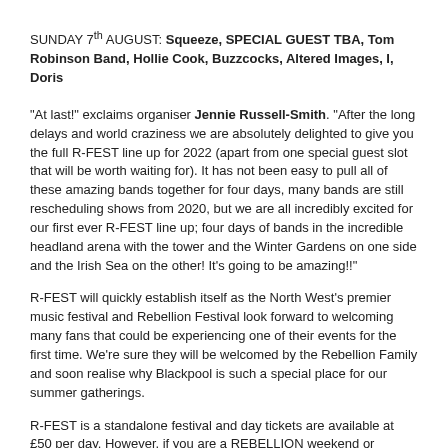SUNDAY 7th AUGUST: Squeeze, SPECIAL GUEST TBA, Tom Robinson Band, Hollie Cook, Buzzcocks, Altered Images, I, Doris
"At last!" exclaims organiser Jennie Russell-Smith. "After the long delays and world craziness we are absolutely delighted to give you the full R-FEST line up for 2022 (apart from one special guest slot that will be worth waiting for). It has not been easy to pull all of these amazing bands together for four days, many bands are still rescheduling shows from 2020, but we are all incredibly excited for our first ever R-FEST line up; four days of bands in the incredible headland arena with the tower and the Winter Gardens on one side and the Irish Sea on the other! It’s going to be amazing!!"
R-FEST will quickly establish itself as the North West’s premier music festival and Rebellion Festival look forward to welcoming many fans that could be experiencing one of their events for the first time. We’re sure they will be welcomed by the Rebellion Family and soon realise why Blackpool is such a special place for our summer gatherings.
R-FEST is a standalone festival and day tickets are available at £50 per day. However, if you are a REBELLION weekend or REBELLION day ticket holder your ticket will get into R-FEST Free Of Charge!